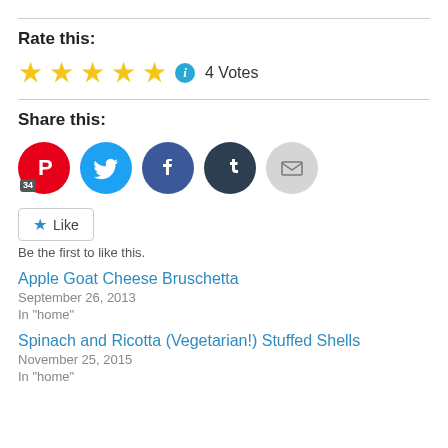Rate this:
[Figure (other): Five gold star rating with info icon and '4 Votes' label]
Share this:
[Figure (other): Social sharing buttons: Pinterest (34), Twitter, Facebook, Tumblr, Email]
Like
Be the first to like this.
Apple Goat Cheese Bruschetta
September 26, 2013
In "home"
Spinach and Ricotta (Vegetarian!) Stuffed Shells
November 25, 2015
In "home"